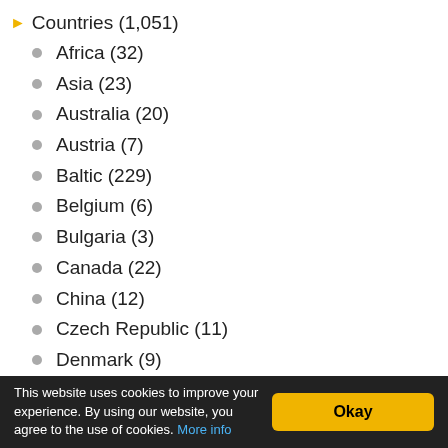Countries (1,051)
Africa (32)
Asia (23)
Australia (20)
Austria (7)
Baltic (229)
Belgium (6)
Bulgaria (3)
Canada (22)
China (12)
Czech Republic (11)
Denmark (9)
Finland (10)
France (137)
Germany (219)
This website uses cookies to improve your experience. By using our website, you agree to the use of cookies. More info   Okay